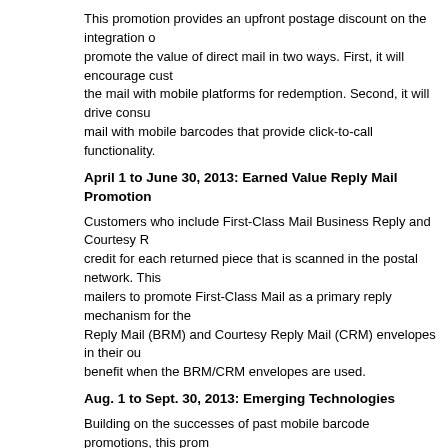This promotion provides an upfront postage discount on the integration of promote the value of direct mail in two ways. First, it will encourage cust the mail with mobile platforms for redemption. Second, it will drive consu mail with mobile barcodes that provide click-to-call functionality.
April 1 to June 30, 2013: Earned Value Reply Mail Promotion
Customers who include First-Class Mail Business Reply and Courtesy R credit for each returned piece that is scanned in the postal network. This mailers to promote First-Class Mail as a primary reply mechanism for the Reply Mail (BRM) and Courtesy Reply Mail (CRM) envelopes in their ou benefit when the BRM/CRM envelopes are used.
Aug. 1 to Sept. 30, 2013: Emerging Technologies
Building on the successes of past mobile barcode promotions, this prom discount for customers who integrate specific emerging technologies int cutting-edge innovations to be highlighted are near-field communication, authentication technologies. This promotion is designed to elevate awar can be integrated with a direct mail strategy to enhance the value of dire
Aug. 1 to Sept. 30, 2013: Picture Permit